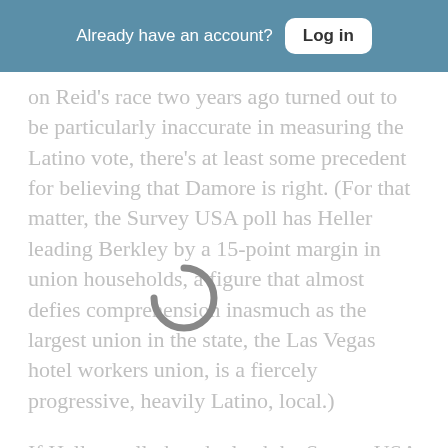Already have an account? Log in
on Reid's race two years ago turned out to be particularly inaccurate in measuring the Latino vote, there's at least some precedent for believing that Damore is right. (For that matter, the Survey USA poll has Heller leading Berkley by a 15-point margin in union households, a figure that almost defies comprehension inasmuch as the largest union in the state, the Las Vegas hotel workers union, is a fiercely progressive, heavily Latino, local.)
If Heller really has the lead the Survey USA poll says he does, it's because his campaign, not surprisingly, has trained most of its fire against Berkley's presumed ethnical shortcomings. Heller has called her "the most unethical, corrupt person